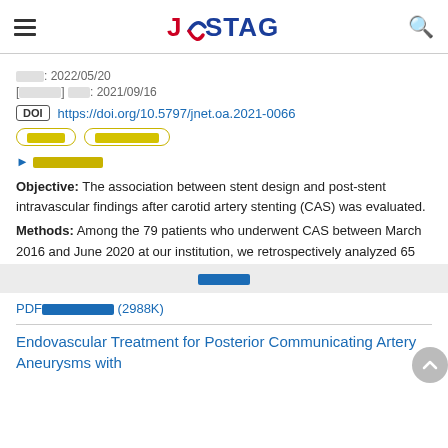J-STAGE
公開日: 2022/05/20
[早期公開] 受付日: 2021/09/16
DOI https://doi.org/10.5797/jnet.oa.2021-0066
[tags: 原著論文, オープンアクセス]
▶ 引用文献を見る
Objective: The association between stent design and post-stent intravascular findings after carotid artery stenting (CAS) was evaluated.
Methods: Among the 79 patients who underwent CAS between March 2016 and June 2020 at our institution, we retrospectively analyzed 65
続きを読む
PDFをダウンロードする (2988K)
Endovascular Treatment for Posterior Communicating Artery Aneurysms with